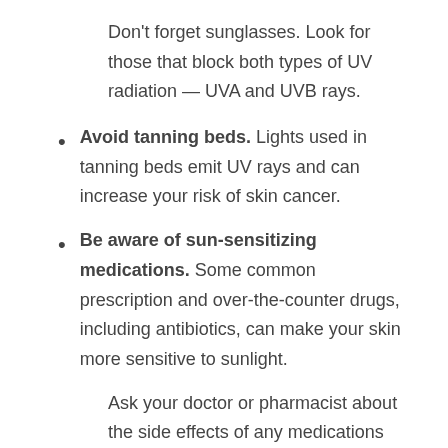Don't forget sunglasses. Look for those that block both types of UV radiation — UVA and UVB rays.
Avoid tanning beds. Lights used in tanning beds emit UV rays and can increase your risk of skin cancer.
Be aware of sun-sensitizing medications. Some common prescription and over-the-counter drugs, including antibiotics, can make your skin more sensitive to sunlight.
Ask your doctor or pharmacist about the side effects of any medications you take. If